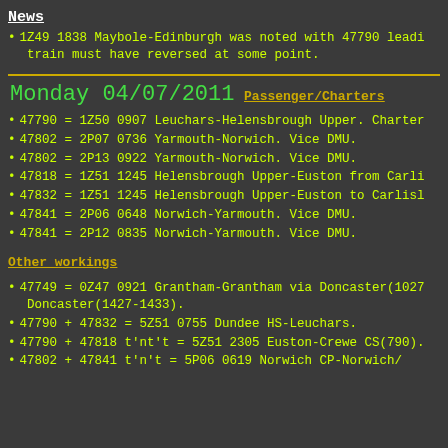News
1Z49 1838 Maybole-Edinburgh was noted with 47790 leading train must have reversed at some point.
Monday 04/07/2011
Passenger/Charters
47790 = 1Z50 0907 Leuchars-Helensbrough Upper. Charter
47802 = 2P07 0736 Yarmouth-Norwich. Vice DMU.
47802 = 2P13 0922 Yarmouth-Norwich. Vice DMU.
47818 = 1Z51 1245 Helensbrough Upper-Euston from Carli
47832 = 1Z51 1245 Helensbrough Upper-Euston to Carlisle
47841 = 2P06 0648 Norwich-Yarmouth. Vice DMU.
47841 = 2P12 0835 Norwich-Yarmouth. Vice DMU.
Other workings
47749 = 0Z47 0921 Grantham-Grantham via Doncaster(1027 Doncaster(1427-1433).
47790 + 47832 = 5Z51 0755 Dundee HS-Leuchars.
47790 + 47818 t'nt't = 5Z51 2305 Euston-Crewe CS(790).
47802 + 47841 t'n't = 5P06 0619 Norwich CP-Norwich/